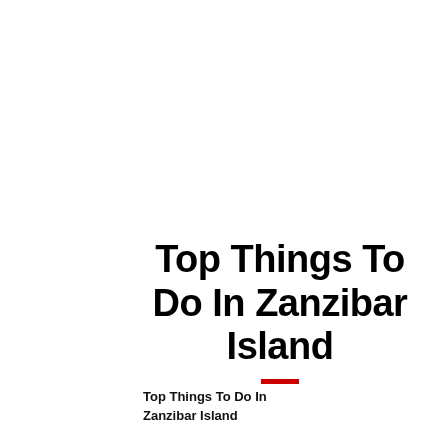Top Things To Do In Zanzibar Island
Top Things To Do In Zanzibar Island